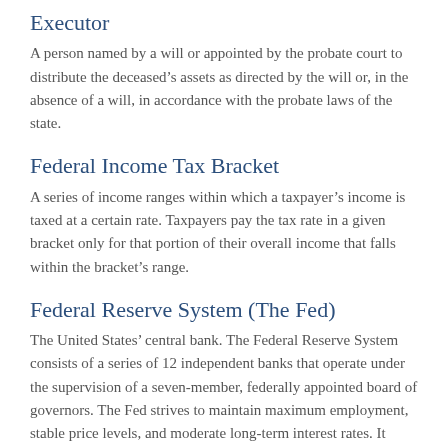Executor
A person named by a will or appointed by the probate court to distribute the deceased’s assets as directed by the will or, in the absence of a will, in accordance with the probate laws of the state.
Federal Income Tax Bracket
A series of income ranges within which a taxpayer’s income is taxed at a certain rate. Taxpayers pay the tax rate in a given bracket only for that portion of their overall income that falls within the bracket’s range.
Federal Reserve System (The Fed)
The United States’ central bank. The Federal Reserve System consists of a series of 12 independent banks that operate under the supervision of a seven-member, federally appointed board of governors. The Fed strives to maintain maximum employment, stable price levels, and moderate long-term interest rates. It establishes and enforces the regulations banks, savings and loans, and